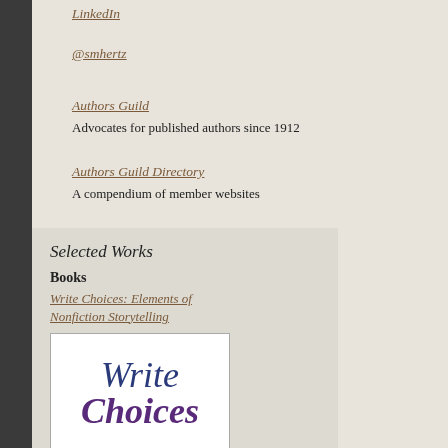LinkedIn
@smhertz
Authors Guild
Advocates for published authors since 1912
Authors Guild Directory
A compendium of member websites
Selected Works
Books
Write Choices: Elements of Nonfiction Storytelling
[Figure (illustration): Book cover showing 'Write Choices' in large serif italic text, blue and purple colors]